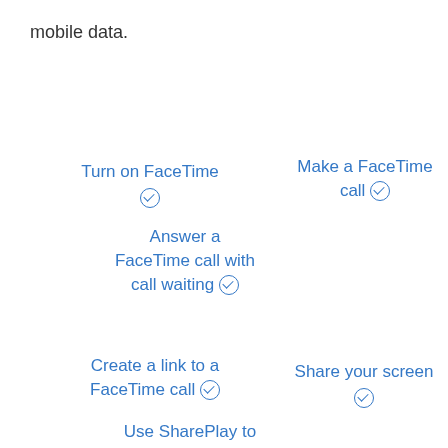mobile data.
Turn on FaceTime ⊙
Make a FaceTime call ⊙
Answer a FaceTime call with call waiting ⊙
Create a link to a FaceTime call ⊙
Share your screen ⊙
Use SharePlay to